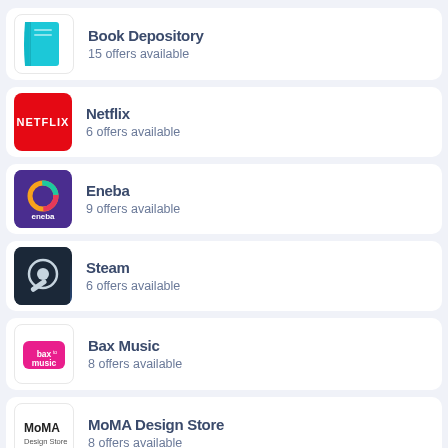Book Depository – 15 offers available
Netflix – 6 offers available
Eneba – 9 offers available
Steam – 6 offers available
Bax Music – 8 offers available
MoMA Design Store – 8 offers available